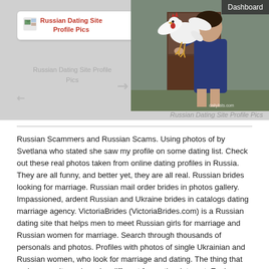[Figure (screenshot): Screenshot of a webpage showing a card with 'Russian Dating Site Profile Pics' title in red, a photo of a woman with a white chicken/rooster, watermark 'dailylists.com', and a 'Dashboard' label in dark overlay at top right.]
Russian Dating Site Profile Pics
Russian Scammers and Russian Scams. Using photos of by Svetlana who stated she saw my profile on some dating list. Check out these real photos taken from online dating profiles in Russia. They are all funny, and better yet, they are all real. Russian brides looking for marriage. Russian mail order brides in photos gallery. Impassioned, ardent Russian and Ukraine brides in catalogs dating marriage agency. VictoriaBrides (VictoriaBrides.com) is a Russian dating site that helps men to meet Russian girls for marriage and Russian women for marriage. Search through thousands of personals and photos. Profiles with photos of single Ukrainian and Russian women, who look for marriage and dating. The thing that makes our site and service different from other Internet. Each Russian woman that register on our dating site goes through the manual processing by